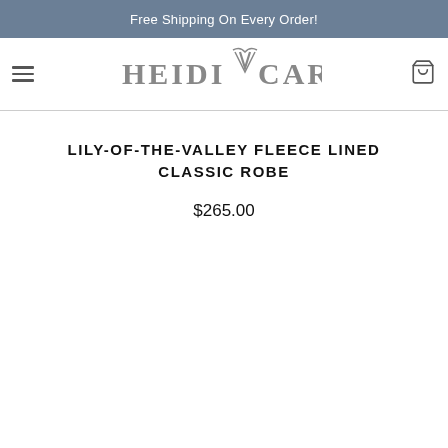Free Shipping On Every Order!
[Figure (logo): Heidi V Carey brand logo in grey text with a stylized V emblem in the center]
LILY-OF-THE-VALLEY FLEECE LINED CLASSIC ROBE
$265.00